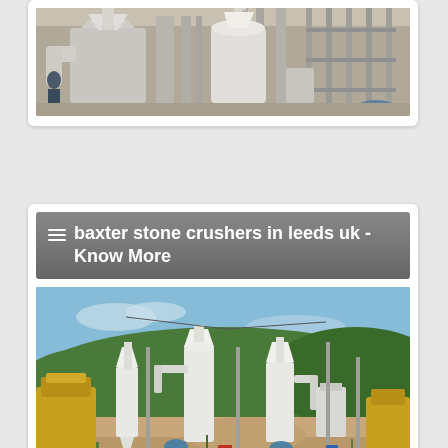[Figure (photo): Industrial milling/grinding equipment inside a factory building, showing large white cylindrical machines with pipes and structural steel framework]
[Figure (photo): Outdoor stone crushing/milling plant with white industrial equipment including cyclone dust collectors and pipe systems, yellow machinery on left, green forested hill in background]
≡ baxter stone crushers in leeds uk - Know More